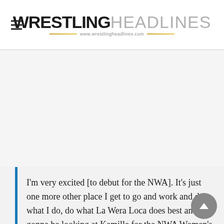WRESTLING HEADLINES — www.wrestlingheadlines.com
[Figure (other): Advertisement placeholder area (blank/white space)]
I'm very excited [to debut for the NWA]. It's just one more other place I get to go and work and do what I do, do what La Wera Loca does best and I'm gonna be looking at Kamille for the NWA Women's Championship down the road. I'm